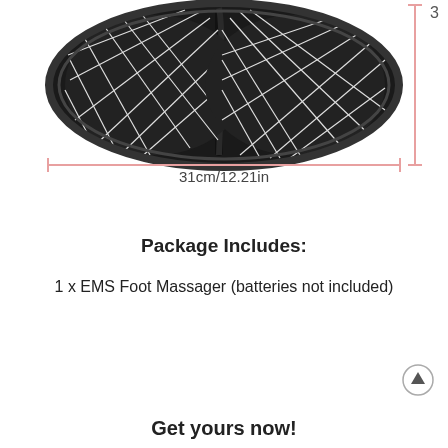[Figure (photo): Black EMS foot massager pad with diamond/quilted pattern, shown from above with dimension measurement arrows. Width dimension shows 31cm/12.21in with a horizontal measurement line. A vertical measurement line is partially visible on the right side.]
31cm/12.21in
Package Includes:
1 x EMS Foot Massager (batteries not included)
Get yours now!